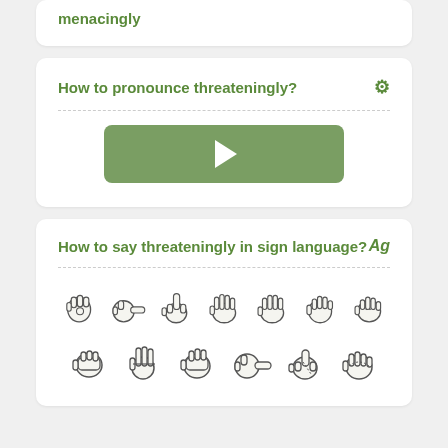menacingly
How to pronounce threateningly?
[Figure (other): Green play button for audio pronunciation]
How to say threateningly in sign language?
[Figure (illustration): Two rows of hand sign language gestures spelling out 'threateningly']